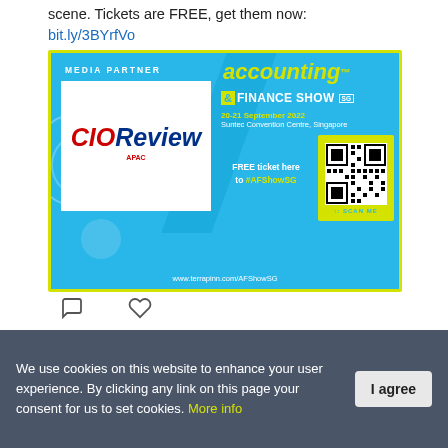scene. Tickets are FREE, get them now: bit.ly/3BYrfVo
[Figure (illustration): Accounting & Finance Show SG media partner banner featuring CIOReview APAC logo on the left, event name and details on the right (20-21 September 2022, Suntec Convention Centre, Singapore), QR code for free ticket, and website www.terrapinn.com/AFShowSG]
CIOReview @cioreview · Aug 17
We use cookies on this website to enhance your user experience. By clicking any link on this page you give your consent for us to set cookies. More info